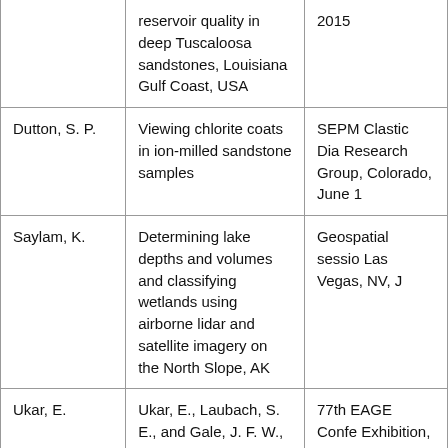| Author | Title | Publication/Venue |
| --- | --- | --- |
|  | reservoir quality in deep Tuscaloosa sandstones, Louisiana Gulf Coast, USA | 2015 |
| Dutton, S. P. | Viewing chlorite coats in ion-milled sandstone samples | SEPM Clastic Dia Research Group, Colorado, June 1 |
| Saylam, K. | Determining lake depths and volumes and classifying wetlands using airborne lidar and satellite imagery on the North Slope, AK | Geospatial sessio Las Vegas, NV, J |
| Ukar, E. | Ukar, E., Laubach, S. E., and Gale, J. F. W., | 77th EAGE Confe Exhibition, Works |